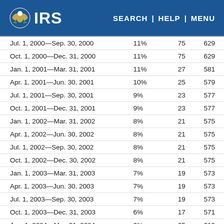IRS | SEARCH | HELP | MENU
| Period | Rate | Col3 | Col4 |
| --- | --- | --- | --- |
| Jul. 1, 2000—Sep. 30, 2000 | 11% | 75 | 629 |
| Oct. 1, 2000—Dec. 31, 2000 | 11% | 75 | 629 |
| Jan. 1, 2001—Mar. 31, 2001 | 11% | 27 | 581 |
| Apr. 1, 2001—Jun. 30, 2001 | 10% | 25 | 579 |
| Jul. 1, 2001—Sep. 30, 2001 | 9% | 23 | 577 |
| Oct. 1, 2001—Dec. 31, 2001 | 9% | 23 | 577 |
| Jan. 1, 2002—Mar. 31, 2002 | 8% | 21 | 575 |
| Apr. 1, 2002—Jun. 30, 2002 | 8% | 21 | 575 |
| Jul. 1, 2002—Sep. 30, 2002 | 8% | 21 | 575 |
| Oct. 1, 2002—Dec. 30, 2002 | 8% | 21 | 575 |
| Jan. 1, 2003—Mar. 31, 2003 | 7% | 19 | 573 |
| Apr. 1, 2003—Jun. 30, 2003 | 7% | 19 | 573 |
| Jul. 1, 2003—Sep. 30, 2003 | 7% | 19 | 573 |
| Oct. 1, 2003—Dec. 31, 2003 | 6% | 17 | 571 |
| Jan. 1, 2004—Mar. 31, 2004 | 6% | 65 | 619 |
| Apr. 1, 2004—Jun. 30, 2004 | 7% | 67 | 621 |
| Jul. 1, 2004—Sep. 30, 2004 | 6% | 65 | 619 |